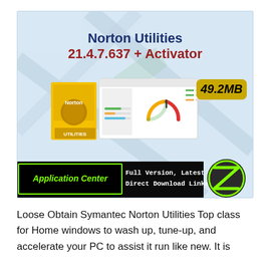[Figure (screenshot): Norton Utilities 21.4.7.637 + Activator promotional banner with product box, software screenshot, file size badge (49.2MB), Application Center label, download links text, and a green Z logo circle on a light blue background with diagonal fold lines.]
Loose Obtain Symantec Norton Utilities Top class for Home windows to wash up, tune-up, and accelerate your PC to assist it run like new. It is